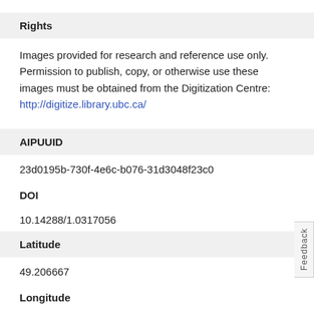Rights
Images provided for research and reference use only. Permission to publish, copy, or otherwise use these images must be obtained from the Digitization Centre: http://digitize.library.ubc.ca/
AIPUUID
23d0195b-730f-4e6c-b076-31d3048f23c0
DOI
10.14288/1.0317056
Latitude
49.206667
Longitude
-122.910556
Aggregated Source Repository
CONTENTdm